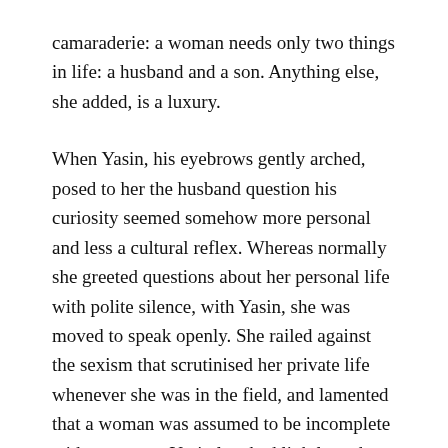camaraderie: a woman needs only two things in life: a husband and a son. Anything else, she added, is a luxury.
When Yasin, his eyebrows gently arched, posed to her the husband question his curiosity seemed somehow more personal and less a cultural reflex. Whereas normally she greeted questions about her personal life with polite silence, with Yasin, she was moved to speak openly. She railed against the sexism that scrutinised her private life whenever she was in the field, and lamented that a woman was assumed to be incomplete without a man. Yasin laughed lightly and flashed a look that to her implied a deeper understanding than could be communicated in words.